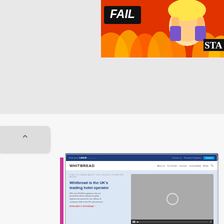[Figure (screenshot): Advertisement banner showing 'FAIL' text with cartoon character and flames on orange/red background, partially visible at top right of page]
[Figure (screenshot): Screenshot of Whitbread PLC website showing navigation bar with 'WHITBREAD' logo, About us, Our brands, Investors, Sustainability, Media links, hero section with text 'Whitbread is the UK's leading hotel operator' and a video player, plus cookie consent bar]
Whitbread
https://www.whitbread.co.uk/
Whitbread PLC is the UK's largest hospitality company, owning Premier Inn as well as Beefeater Brewers Fayre, Table